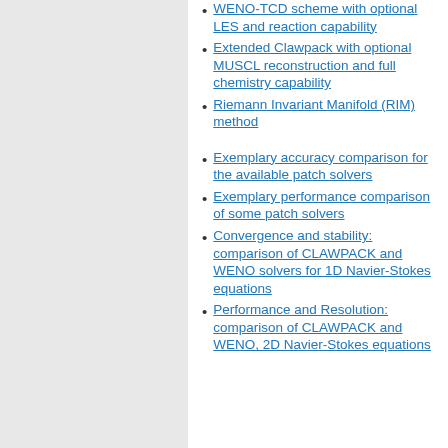WENO-TCD scheme with optional LES and reaction capability
Extended Clawpack with optional MUSCL reconstruction and full chemistry capability
Riemann Invariant Manifold (RIM) method
Exemplary accuracy comparison for the available patch solvers
Exemplary performance comparison of some patch solvers
Convergence and stability: comparison of CLAWPACK and WENO solvers for 1D Navier-Stokes equations
Performance and Resolution: comparison of CLAWPACK and WENO, 2D Navier-Stokes equations